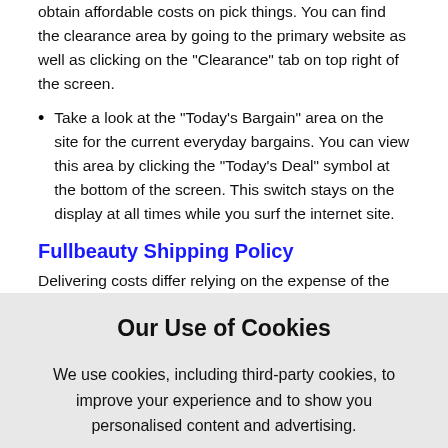obtain affordable costs on pick things. You can find the clearance area by going to the primary website as well as clicking on the "Clearance" tab on top right of the screen.
Take a look at the "Today's Bargain" area on the site for the current everyday bargains. You can view this area by clicking the "Today's Deal" symbol at the bottom of the screen. This switch stays on the display at all times while you surf the internet site.
Fullbeauty Shipping Policy
Delivering costs differ relying on the expense of the
Our Use of Cookies
We use cookies, including third-party cookies, to improve your experience and to show you personalised content and advertising.
To find out more, read our Privacy Statement and